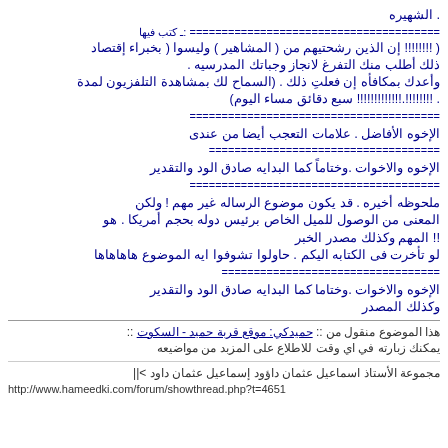. الشهيره
======================================= :ـ كتب فيها
!!!!!!!! إن الذين رشحتيهم من ( المشاهير ) وليسوا ( بخبراء إقتصاد ) ذلك أطلب منك التفرغ لانجاز وجباتك المدرسيه وأعدك بمكافأه إن فعلتِ ذلك . (السماح لك بمشاهدة التلفزيون لمدة . !!!!!!!!.!!!!!!!!!!!! سبع دقائق مساء اليوم)
=======================================
الإخوه الأفاضل . علامات التعجب أيضا من عندى
====================================
الإخوه والاخوات .وختاماً كما البدايه صادق الود والتقدير
=======================================
ملحوظه أخيره . قد يكون موضوع الرساله غير مهم ! ولكن المعنى من الوصول للميل الخاص برئيس دوله بحجم أمريكا . هو !! المهم وكذلك مصدر الخبر لو تأخرت فى الكتابه اليكم . حاولوا تشوفوا ايه الموضوع هاهاهاها
==================================
الإخوه والاخوات .وختاما كما البدايه صادق الود والتقدير
وكذلك المصدر
هذا الموضوع منقول من :: حميدكي: موقع قربة حميد - السكوت :: يمكنك زبارته في اي وقت للاطلاع على المزبد من مواضيعه
مجموعة الأستاذ اسماعيل عثمان داؤود إسماعيل عثمان داود >||
http://www.hameedki.com/forum/showthread.php?t=4651